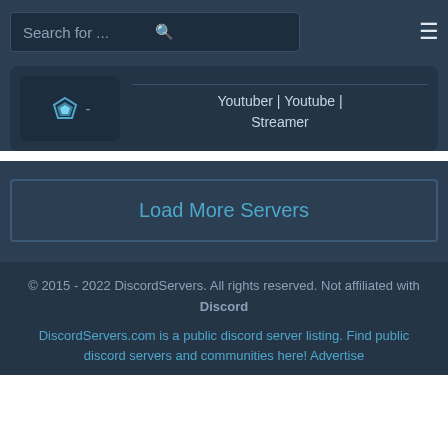Search for ...
Youtuber | Youtube | Streamer
Load More Servers
© 2015 - 2022 DiscordServers. All rights reserved. Not affiliated with Discord
DiscordServers.com is a public discord server listing. Find public discord servers and communities here! Advertise